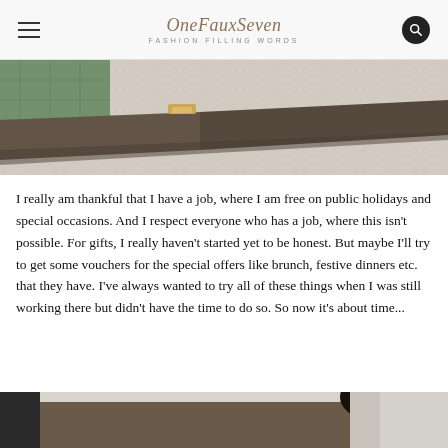OneFauxSeven — FASHION FILLING WORDS
[Figure (photo): Close-up photo of what appears to be furniture hardware or a drawer pull with gold/brass accent on a textured surface, with green fabric visible in upper left.]
I really am thankful that I have a job, where I am free on public holidays and special occasions. And I respect everyone who has a job, where this isn't possible. For gifts, I really haven't started yet to be honest. But maybe I'll try to get some vouchers for the special offers like brunch, festive dinners etc. that they have. I've always wanted to try all of these things when I was still working there but didn't have the time to do so. So now it's about time...
[Figure (photo): Partial photo of a person, cropped at bottom of page, with light curtain/window background visible.]